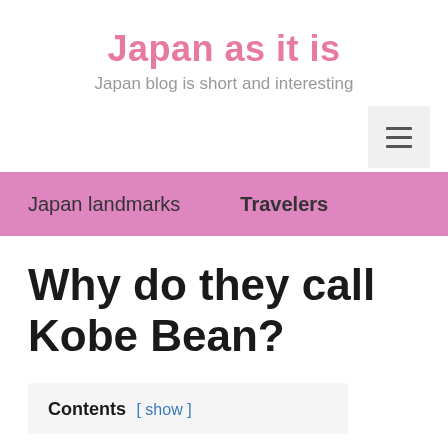Japan as it is
Japan blog is short and interesting
[Figure (other): Hamburger menu button icon with three horizontal lines]
Japan landmarks   Travelers
Why do they call Kobe Bean?
Contents [ show ]